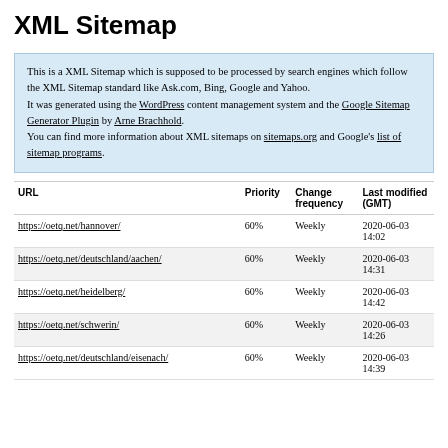XML Sitemap
This is a XML Sitemap which is supposed to be processed by search engines which follow the XML Sitemap standard like Ask.com, Bing, Google and Yahoo.
It was generated using the WordPress content management system and the Google Sitemap Generator Plugin by Arne Brachhold.
You can find more information about XML sitemaps on sitemaps.org and Google's list of sitemap programs.
| URL | Priority | Change frequency | Last modified (GMT) |
| --- | --- | --- | --- |
| https://oetq.net/hannover/ | 60% | Weekly | 2020-06-03 14:02 |
| https://oetq.net/deutschland/aachen/ | 60% | Weekly | 2020-06-03 14:31 |
| https://oetq.net/heidelberg/ | 60% | Weekly | 2020-06-03 14:42 |
| https://oetq.net/schwerin/ | 60% | Weekly | 2020-06-03 14:26 |
| https://oetq.net/deutschland/eisenach/ | 60% | Weekly | 2020-06-03 14:39 |